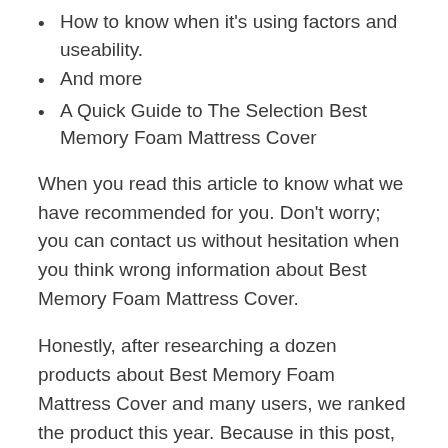How to know when it's using factors and useability.
And more
A Quick Guide to The Selection Best Memory Foam Mattress Cover
When you read this article to know what we have recommended for you. Don't worry; you can contact us without hesitation when you think wrong information about Best Memory Foam Mattress Cover.
Honestly, after researching a dozen products about Best Memory Foam Mattress Cover and many users, we ranked the product this year. Because in this post, our top quality recommends selecting on the market, as the full related product, and it comes with reasonable prices for every user ever released.